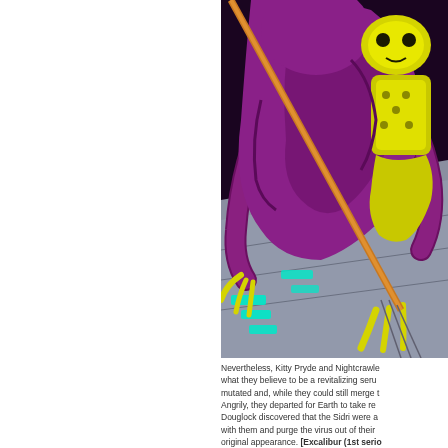[Figure (illustration): Comic book illustration showing purple alien/mutant creature with yellow claws and a yellow armored figure on a grey metallic surface with glowing green teal panels]
Nevertheless, Kitty Pryde and Nightcrawler injected what they believe to be a revitalizing serum. It mutated and, while they could still merge together. Angrily, they departed for Earth to take rev. Douglock discovered that the Sidri were a with them and purge the virus out of their original appearance. [Excalibur (1st seri